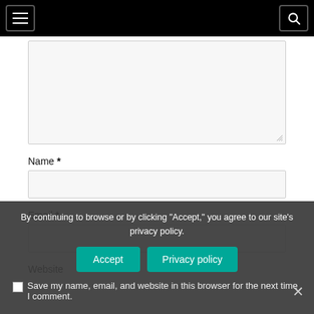Navigation header with menu and search buttons
[Figure (screenshot): Comment form textarea (large text input area, empty, with resize handle)]
Name *
[Figure (screenshot): Name input field (single line text box, empty)]
Email *
[Figure (screenshot): Email input field (single line text box, empty)]
Website
By continuing to browse or by clicking "Accept," you agree to our site's privacy policy.
Save my name, email, and website in this browser for the next time I comment.